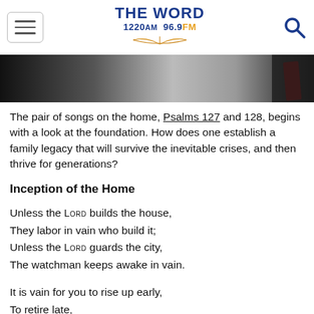THE WORD 1220AM 96.9FM
[Figure (photo): Partial image of a person in a dark suit with a red tie, cropped at the top of the page]
The pair of songs on the home, Psalms 127 and 128, begins with a look at the foundation. How does one establish a family legacy that will survive the inevitable crises, and then thrive for generations?
Inception of the Home
Unless the LORD builds the house,
They labor in vain who build it;
Unless the LORD guards the city,
The watchman keeps awake in vain.
It is vain for you to rise up early,
To retire late,
To eat the bread of painful labors;
For He gives to His beloved even in sleep. (Psa...